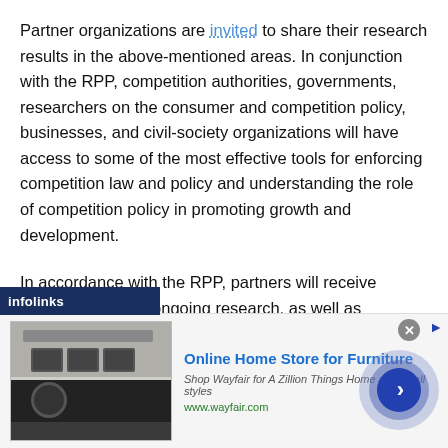Partner organizations are invited to share their research results in the above-mentioned areas. In conjunction with the RPP, competition authorities, governments, researchers on the consumer and competition policy, businesses, and civil-society organizations will have access to some of the most effective tools for enforcing competition law and policy and understanding the role of competition policy in promoting growth and development.
In accordance with the RPP, partners will receive information about ongoing research, as well as opportunities to participate in meetings, conferences, and seminars on competition and consumer policy.
[Figure (screenshot): Infolinks advertisement banner for Wayfair Online Home Store for Furniture, with product image, blue headline, italic subtext, and a large circular blue arrow button on the right.]